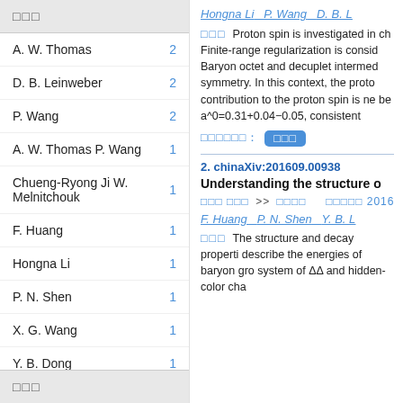□□□
A. W. Thomas  2
D. B. Leinweber  2
P. Wang  2
A. W. Thomas P. Wang  1
Chueng-Ryong Ji W. Melnitchouk  1
F. Huang  1
Hongna Li  1
P. N. Shen  1
X. G. Wang  1
Y. B. Dong  1
□□□
Hongna Li   P. Wang   D. B. L
□□□ Proton spin is investigated in ch Finite-range regularization is consid Baryon octet and decuplet intermed symmetry. In this context, the proto contribution to the proton spin is ne be a^0=0.31+0.04−0.05, consistent
□□□□□□:  □□□
2. chinaXiv:201609.00938
Understanding the structure o
□□□ □□□  >> □□□□   □□□□□ 2016-09-
F. Huang   P. N. Shen   Y. B. L
□□□ The structure and decay properti describe the energies of baryon gro system of ΔΔ and hidden-color cha